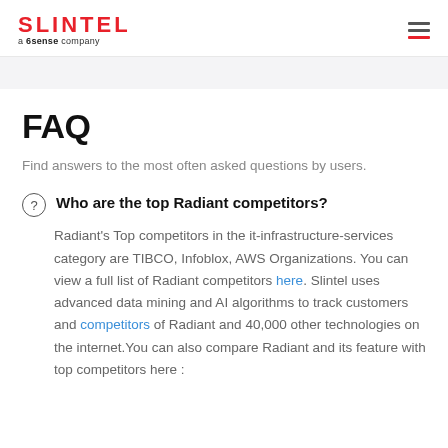SLINTEL a 6sense company
FAQ
Find answers to the most often asked questions by users.
Who are the top Radiant competitors?
Radiant's Top competitors in the it-infrastructure-services category are TIBCO, Infoblox, AWS Organizations. You can view a full list of Radiant competitors here. Slintel uses advanced data mining and AI algorithms to track customers and competitors of Radiant and 40,000 other technologies on the internet.You can also compare Radiant and its feature with top competitors here :